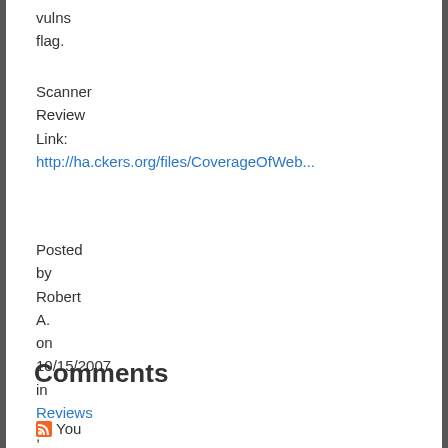vulns flag.
Scanner Review Link: http://ha.ckers.org/files/CoverageOfWeb...
Posted by Robert A. on 10/15/2007 in Reviews , Security Tools | Permalink | Reddit
Comments
You